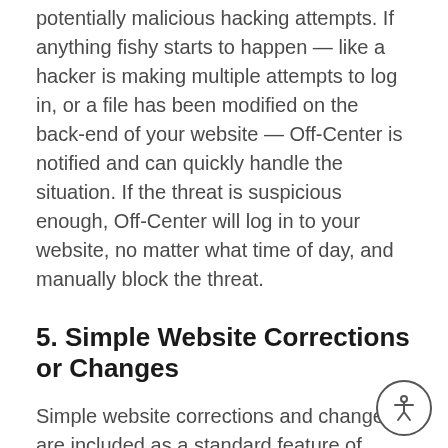potentially malicious hacking attempts. If anything fishy starts to happen — like a hacker is making multiple attempts to log in, or a file has been modified on the back-end of your website — Off-Center is notified and can quickly handle the situation. If the threat is suspicious enough, Off-Center will log in to your website, no matter what time of day, and manually block the threat.
5. Simple Website Corrections or Changes
Simple website corrections and changes are included as a standard feature of website maintenance. If you see a sentence that doesn't fit your business model anymore, or you have an updated photo you want on your website, this kind of simple change is included at no extra cost. A simple correction is